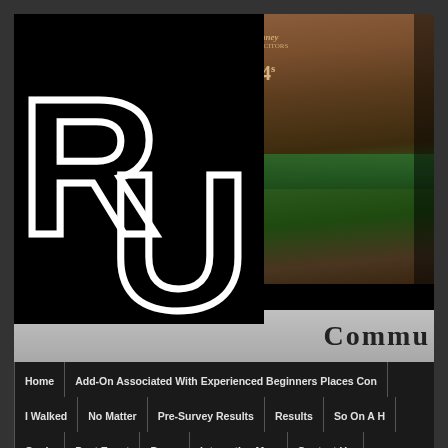[Figure (screenshot): Website screenshot showing RU logo in white outlined letters on black background, with a street photo of a building (Romney sign, number 14) on the right side]
COMMU
Home | Add-On Associated With Experienced Beginners Places Con...
I Walked | No Matter | Pre-Survey Results | Results | So On A H...
Goals | Post Event | Press | Interactive Map | Contact Us
If any of the decisions Trump has made, these four years in office will go, w... of Am...